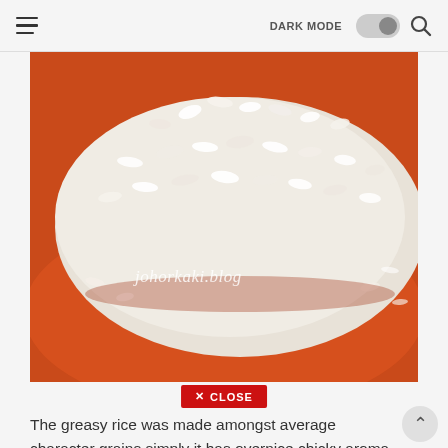DARK MODE [toggle] [search]
[Figure (photo): Close-up photo of steamed white rice grains piled on an orange/red plate, watermark text 'johorkaki.blog' visible in white italic text on the lower-left of the image.]
✕ CLOSE
The greasy rice was made amongst average character grains simply it has overnice chicky aroma in addition to flavour.